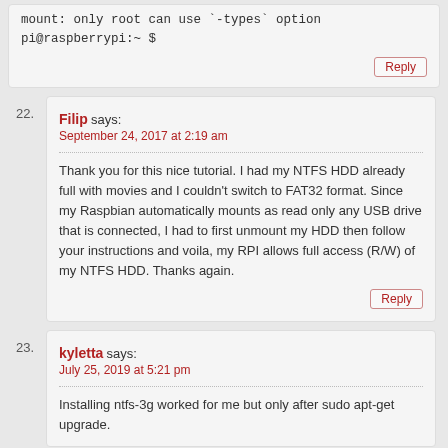mount: only root can use `-types` option
pi@raspberrypi:~ $
Reply
22. Filip says:
September 24, 2017 at 2:19 am
Thank you for this nice tutorial. I had my NTFS HDD already full with movies and I couldn't switch to FAT32 format. Since my Raspbian automatically mounts as read only any USB drive that is connected, I had to first unmount my HDD then follow your instructions and voila, my RPI allows full access (R/W) of my NTFS HDD. Thanks again.
Reply
23. kyletta says:
July 25, 2019 at 5:21 pm
Installing ntfs-3g worked for me but only after sudo apt-get upgrade.